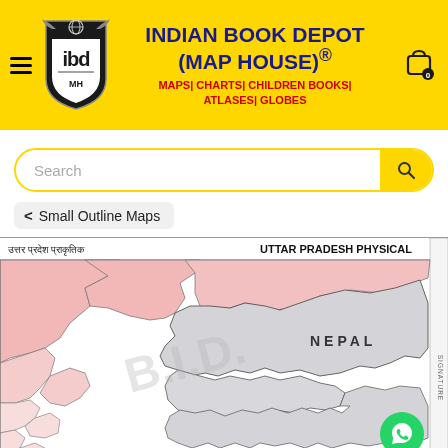[Figure (logo): Indian Book Depot (Map House) logo with shield and IBD/MH text, yellow background header with brand name and subtitle]
INDIAN BOOK DEPOT (MAP HOUSE)®
MAPS| CHARTS| CHILDREN BOOKS| ATLASES| GLOBES
Search
< Small Outline Maps
[Figure (map): Uttar Pradesh Physical map showing border region with Nepal. Map titled in Hindi 'उत्तर प्रदेश प्राकृतिक' and English 'UTTAR PRADESH PHYSICAL'. Shows northern UP area in pink/rose color and Nepal region in light gray, with district boundary lines and NEPAL label. Watermark 'B.I.D.' visible. SIGNATURE text on right side.]